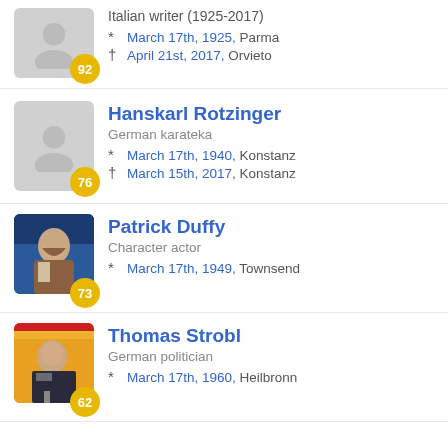Italian writer (1925-2017)
* March 17th, 1925, Parma
† April 21st, 2017, Orvieto
Hanskarl Rotzinger
German karateka
* March 17th, 1940, Konstanz
† March 15th, 2017, Konstanz
Patrick Duffy
Character actor
* March 17th, 1949, Townsend
Thomas Strobl
German politician
* March 17th, 1960, Heilbronn